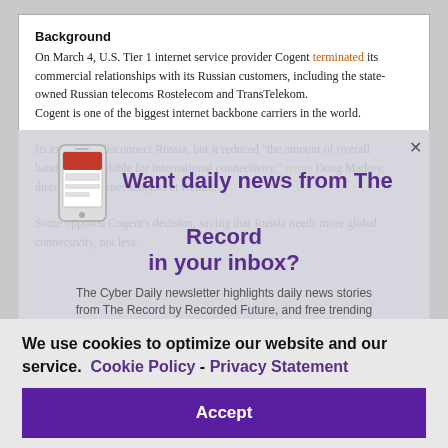Background
On March 4, U.S. Tier 1 internet service provider Cogent terminated its commercial relationships with its Russian customers, including the state-owned Russian telecoms Rostelecom and TransTelekom. Cogent is one of the biggest internet backbone carriers in the world.
Its exit didn't disconnect Russia, but it reduced "the amount of overall bandwidth available for international connectivity," wrote Doug Madory, director of internet analysis at Kentik.
Some opposed Cogent's decision, saying that Russia needs more global connectivity, not less.
Want daily news from The Record in your inbox?
The Cyber Daily newsletter highlights daily news stories from The Record by Recorded Future, and free trending data from the Recorded Future platform
Subscribe now
We use cookies to optimize our website and our service.  Cookie Policy -  Privacy Statement
Accept